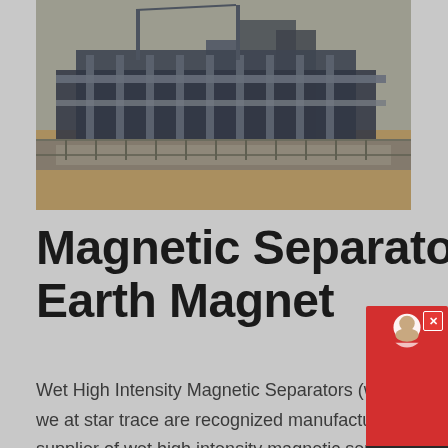[Figure (photo): Industrial magnetic separator machinery photographed outdoors, showing heavy industrial equipment with metal framework and structures against a sandy/earthen background.]
Magnetic Separators Industrial Rare Earth Magnet
Wet High Intensity Magnetic Separators (whims) we at star trace are recognized manufacturer, supplier of wet high intensity magnetic separator (whims) wet high intensity magnetic separator designs, develops, manufactures and markets magnetic separation equipment for beneficiating weakly magnetic minerals, and for purifying nonmetallic minerals star traceMagnetic separator manufacturers share the steps of